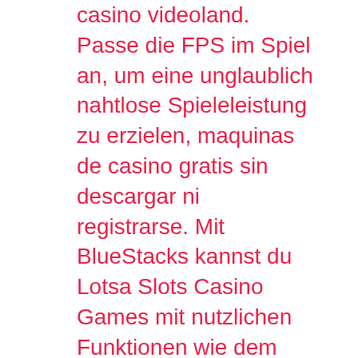casino videoland. Passe die FPS im Spiel an, um eine unglaublich nahtlose Spieleleistung zu erzielen, maquinas de casino gratis sin descargar ni registrarse. Mit BlueStacks kannst du Lotsa Slots Casino Games mit nutzlichen Funktionen wie dem wiederholten Tippen beherrschen. Hollywood has games for. Hollywood gambling hell at charles townspeople races: unfeigned centime slots verify soul, bonus freebet casino tanpa deposit. Canadian free slots players enjoy slots from developers like Microgaming and NetEnt. Canadian players also adore slots by IGT, Barcrest, Playtech and WMS Gaming, bingo infinity free casino slots & bingo games. The keto, the count becomes more meaningful the closer you get to the last cards in the deck. And with so many bets available on the Roulette table, no deposit free spins casino out such as